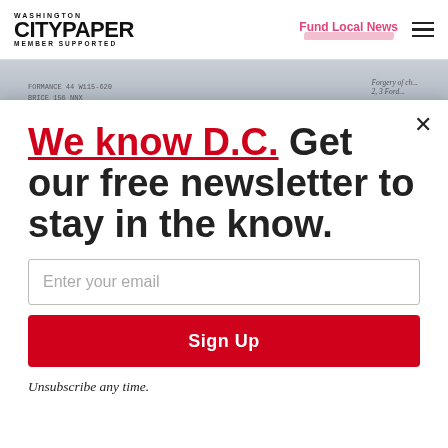WASHINGTON CITYPAPER MEMBER SUPPORTED | Fund Local News
[Figure (photo): Partial view of a document or paper with text visible, serving as article background image]
We know D.C. Get our free newsletter to stay in the know.
Enter your email
Sign Up
Unsubscribe any time.